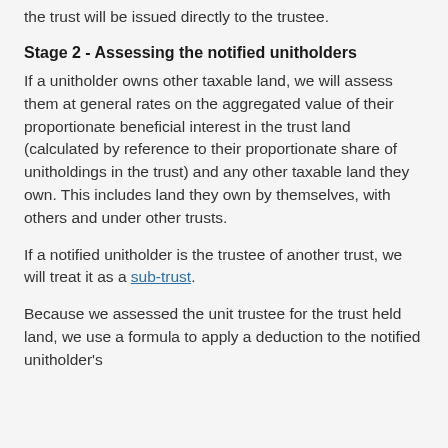the trust will be issued directly to the trustee.
Stage 2 - Assessing the notified unitholders
If a unitholder owns other taxable land, we will assess them at general rates on the aggregated value of their proportionate beneficial interest in the trust land (calculated by reference to their proportionate share of unitholdings in the trust) and any other taxable land they own. This includes land they own by themselves, with others and under other trusts.
If a notified unitholder is the trustee of another trust, we will treat it as a sub-trust.
Because we assessed the unit trustee for the trust held land, we use a formula to apply a deduction to the notified unitholder's